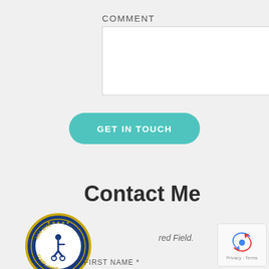COMMENT
[Figure (other): Comment text input area - empty white rectangle form field]
GET IN TOUCH
Contact Me
[Figure (logo): ADA Site Compliance badge - circular blue and gold seal with wheelchair accessibility icon]
red Field.
FIRST NAME *
[Figure (other): Google reCAPTCHA widget showing spinning arrows icon with Privacy - Terms text below]